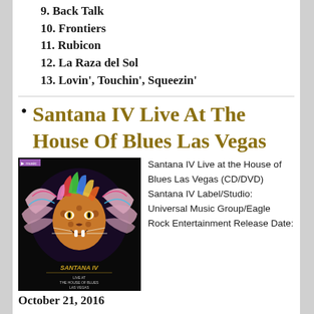9. Back Talk
10. Frontiers
11. Rubicon
12. La Raza del Sol
13. Lovin', Touchin', Squeezin'
Santana IV Live At The House Of Blues Las Vegas
[Figure (photo): Album cover for Santana IV Live at the House of Blues Las Vegas showing a colorful jaguar/big cat with wings on a black background with the text SANTANA IV LIVE AT THE HOUSE OF BLUES LAS VEGAS]
Santana IV Live at the House of Blues Las Vegas (CD/DVD) Santana IV Label/Studio: Universal Music Group/Eagle Rock Entertainment Release Date:
October 21, 2016